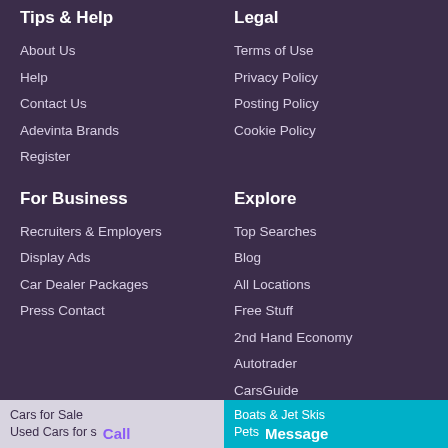Tips & Help
About Us
Help
Contact Us
Adevinta Brands
Register
Legal
Terms of Use
Privacy Policy
Posting Policy
Cookie Policy
For Business
Recruiters & Employers
Display Ads
Car Dealer Packages
Press Contact
Explore
Top Searches
Blog
All Locations
Free Stuff
2nd Hand Economy
Autotrader
CarsGuide
Gumtree Cars
Top Categories
Cars for Sale
Used Cars for Sale
Boats & Jet Skis
Pets